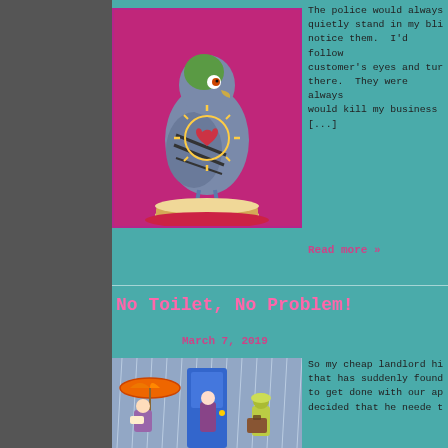[Figure (illustration): Illustration of a stylized pigeon/hawk bird standing on a piece of bread on a pink/magenta background, with a heart and sun-like design on its chest]
The police would always quietly stand in my blin notice them.  I'd follow customer's eyes and turn there.  They were always would kill my business i [...]
Read more »
No Toilet, No Problem!
March 7, 2019
[Figure (illustration): Illustration of people with colorful umbrellas standing in rain outside a blue door, drawn in a sketchy colored pencil style]
So my cheap landlord hi that has suddenly found to get done with our apa decided that he neede t